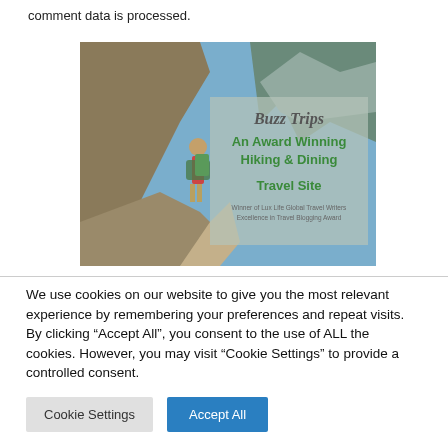comment data is processed.
[Figure (photo): A hiker with a backpack walking along a mountain trail with steep rocky cliffs and valley view. Overlaid text reads: Buzz Trips An Award Winning Hiking & Dining Travel Site. Winner of Lux Life Global Travel Writers Excellence in Travel Blogging Award.]
We use cookies on our website to give you the most relevant experience by remembering your preferences and repeat visits. By clicking “Accept All”, you consent to the use of ALL the cookies. However, you may visit "Cookie Settings" to provide a controlled consent.
Cookie Settings
Accept All